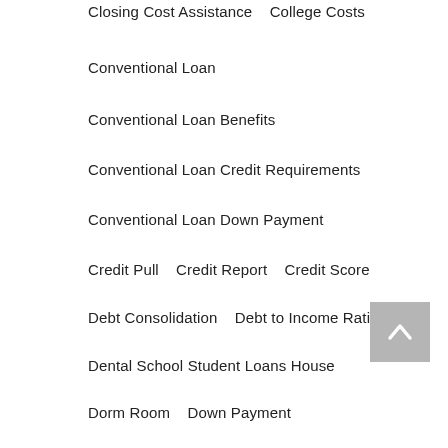Closing Cost Assistance   College Costs
Conventional Loan
Conventional Loan Benefits
Conventional Loan Credit Requirements
Conventional Loan Down Payment
Credit Pull   Credit Report   Credit Score
Debt Consolidation   Debt to Income Ratio
Dental School Student Loans House
Dorm Room   Down Payment
Down Payment Assistance
Drawbacks of Conventional Loans
DTI Ratios
Easy Home Electrical Upgrades   Eaton
FHA Grant   FHA Limits   FHA Loan Li
Fixed-Rate Conventional Loans